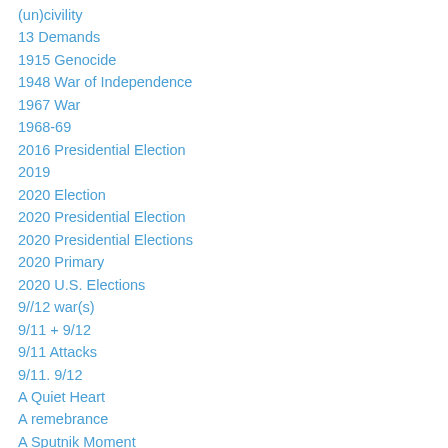(un)civility
13 Demands
1915 Genocide
1948 War of Independence
1967 War
1968-69
2016 Presidential Election
2019
2020 Election
2020 Presidential Election
2020 Presidential Elections
2020 Primary
2020 U.S. Elections
9//12 war(s)
9/11 + 9/12
9/11 Attacks
9/11. 9/12
A Quiet Heart
A remebrance
A Sputnik Moment